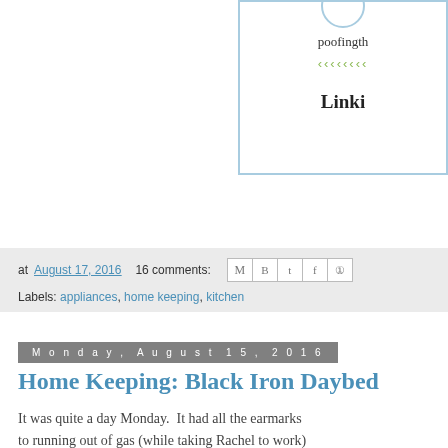[Figure (logo): Blog logo box with site name 'poofingth', decorative leaf characters, and 'Linki' text, partially cropped at right edge]
at August 17, 2016   16 comments:
Labels: appliances, home keeping, kitchen
Monday, August 15, 2016
Home Keeping: Black Iron Daybed
It was quite a day Monday.  It had all the earmarks to running out of gas (while taking Rachel to work) our way!